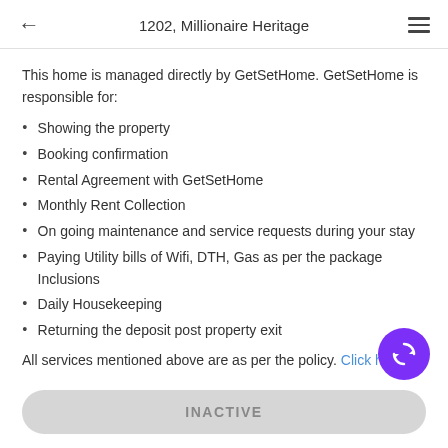1202, Millionaire Heritage
This home is managed directly by GetSetHome. GetSetHome is responsible for:
Showing the property
Booking confirmation
Rental Agreement with GetSetHome
Monthly Rent Collection
On going maintenance and service requests during your stay
Paying Utility bills of Wifi, DTH, Gas as per the package Inclusions
Daily Housekeeping
Returning the deposit post property exit
All services mentioned above are as per the policy. Click here